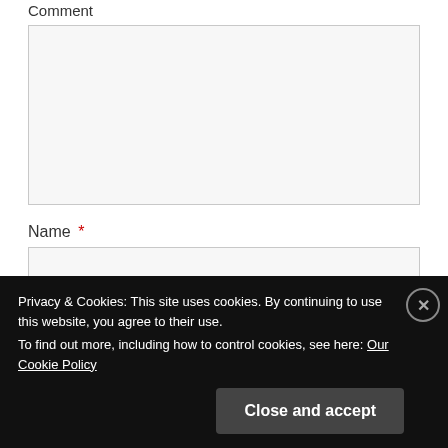Comment
[Figure (screenshot): Empty comment textarea input field]
Name *
[Figure (screenshot): Empty name text input field]
Privacy & Cookies: This site uses cookies. By continuing to use this website, you agree to their use.
To find out more, including how to control cookies, see here: Our Cookie Policy
Close and accept